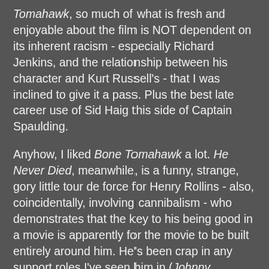Tomahawk, so much of what is fresh and enjoyable about the film is NOT dependent on its inherent racism - especially Richard Jenkins, and the relationship between his character and Kurt Russell's - that I was inclined to give it a pass. Plus the best late career use of Sid Haig this side of Captain Spaulding.

Anyhow, I liked Bone Tomahawk a lot. He Never Died, meanwhile, is a funny, strange, gory little tour de force for Henry Rollins - also, coincidentally, involving cannibalism - who demonstrates that the key to his being good in a movie is apparently for the movie to be built entirely around him. He's been crap in any support roles I've seen him in (Johnny Mnemonic, Morgan's Ferry, The Devil's Tomb), but he's so great in this I actually tried to interview him about it. He turned me down, but I'm glad Hank is enjoying a sort of career high these days, regardless of what billboards he agrees to appear on. (I missed his manic rant the other day at the Vogue, am told it was pretty great).

But anyhow, those are really 2015 movies, so let's no cheat. Here are my top five films from 2016: